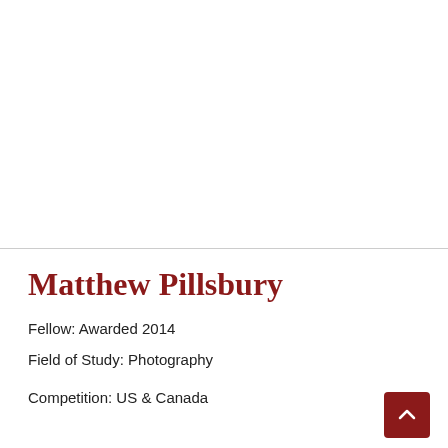[Figure (photo): White/blank top area of a webpage, likely where a photo of Matthew Pillsbury would appear]
Matthew Pillsbury
Fellow: Awarded 2014
Field of Study: Photography
Competition: US & Canada